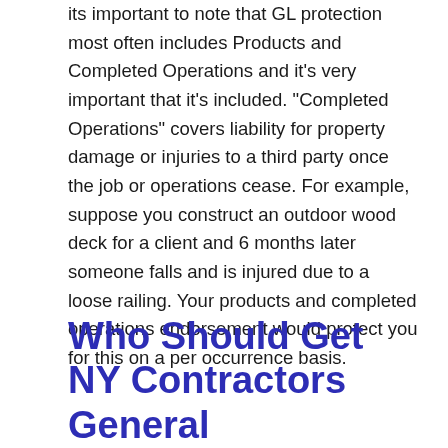its important to note that GL protection most often includes Products and Completed Operations and it's very important that it's included. "Completed Operations" covers liability for property damage or injuries to a third party once the job or operations cease. For example, suppose you construct an outdoor wood deck for a client and 6 months later someone falls and is injured due to a loose railing. Your products and completed operations endorsement would protect you for this on a per occurrence basis.
Who Should Get NY Contractors General